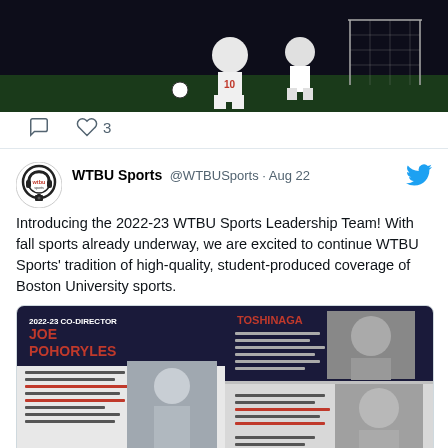[Figure (photo): Soccer action photo showing players in a match, dark background, one player wearing #10]
♡ 3
[Figure (photo): WTBU Sports logo - circular logo with headphones]
WTBU Sports @WTBUSports · Aug 22
Introducing the 2022-23 WTBU Sports Leadership Team! With fall sports already underway, we are excited to continue WTBU Sports' tradition of high-quality, student-produced coverage of Boston University sports.
[Figure (infographic): 2022-23 Co-Director Joe Pohoryles profile card and other leadership team member profiles with headshots and bios]